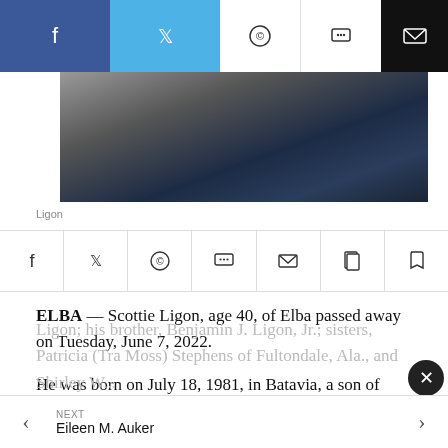[Figure (photo): Partial photo of Scottie Ligon, showing dark clothing]
Ligon
[Figure (infographic): Social media sharing icon row: Facebook, Twitter, WhatsApp, Chat, Email, Copy, Bookmark]
ELBA — Scottie Ligon, age 40, of Elba passed away on Tuesday, June 7, 2022.
He was born on July 18, 1981, in Batavia, a son of Hattie B. Miles Ligon of Elba and the late Benjamin J. Ligon, Sr.
Surviving along with his mother are his daughter, Addison Ligon; his brother, Benjamin J. Ligon, Jr.; sisters, Patricia (Tra Moss) Stephens of Fultondale, Ala., and Shirley W...